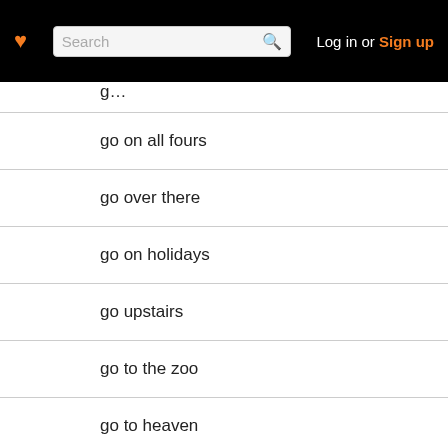Search | Log in or Sign up
go on all fours
go over there
go on holidays
go upstairs
go to the zoo
go to heaven
go shooting
go backward